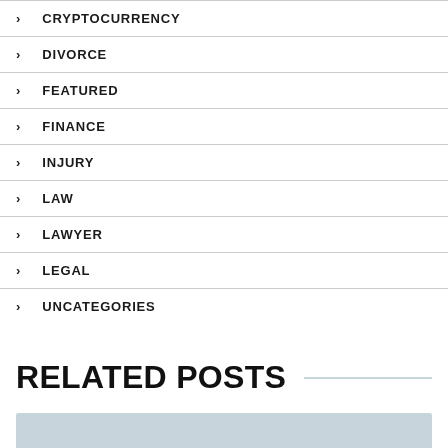CRYPTOCURRENCY
DIVORCE
FEATURED
FINANCE
INJURY
LAW
LAWYER
LEGAL
UNCATEGORIES
RELATED POSTS
[Figure (photo): Bottom strip of a related posts image, partially visible at the bottom of the page]